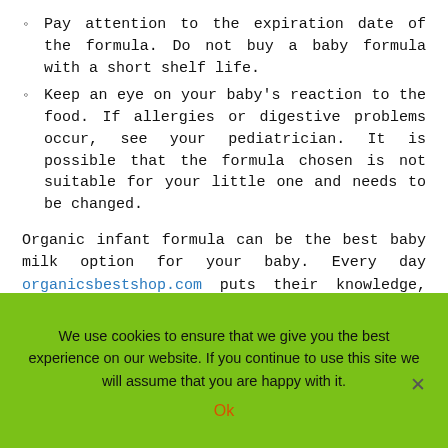Pay attention to the expiration date of the formula. Do not buy a baby formula with a short shelf life.
Keep an eye on your baby's reaction to the food. If allergies or digestive problems occur, see your pediatrician. It is possible that the formula chosen is not suitable for your little one and needs to be changed.
Organic infant formula can be the best baby milk option for your baby. Every day organicsbestshop.com puts their knowledge, experience, and efforts to provide the best food for your baby, the composition of which will be as close to breast milk as possible. If you want to set the right direction for developing the baby's body, to improve health and immunity – organic formula brands such as HIPP, Holle, Lebenswert, Loulouka, and Kendamil will suit your little one's diet perfectly.
We use cookies to ensure that we give you the best experience on our website. If you continue to use this site we will assume that you are happy with it. Ok